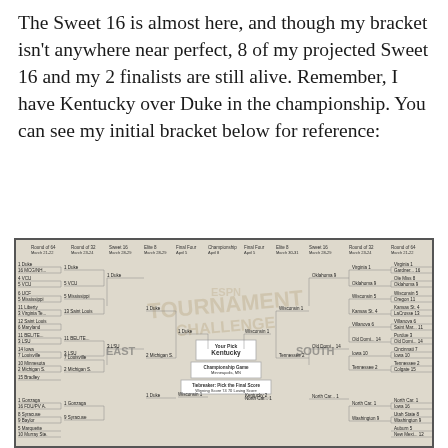The Sweet 16 is almost here, and though my bracket isn't anywhere near perfect, 8 of my projected Sweet 16 and my 2 finalists are still alive.  Remember, I have Kentucky over Duke in the championship.  You can see my initial bracket below for reference:
[Figure (other): NCAA Tournament Challenge bracket image showing the full tournament bracket. The bracket shows Duke vs Kentucky in the championship game (Championship Game: Minneapolis, MN), with Kentucky as the picked winner. East and South regions are visible. Duke is shown advancing from the East, Wisconsin from another region. The bracket includes rounds: Round of 64, Round of 32, Sweet 16, Elite 8, Final Four, Championship, Final Four, Elite 8, Sweet 16, Round of 32, Round of 64. Tiebreaker shown at bottom: Winning Score 74, 70, Losing Score.]